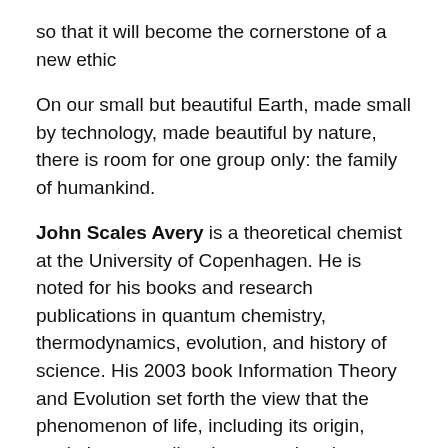so that it will become the cornerstone of a new ethic
On our small but beautiful Earth, made small by technology, made beautiful by nature, there is room for one group only: the family of humankind.
John Scales Avery is a theoretical chemist at the University of Copenhagen. He is noted for his books and research publications in quantum chemistry, thermodynamics, evolution, and history of science. His 2003 book Information Theory and Evolution set forth the view that the phenomenon of life, including its origin, evolution, as well as human cultural evolution, has its background situated in the fields of thermodynamics, statistical